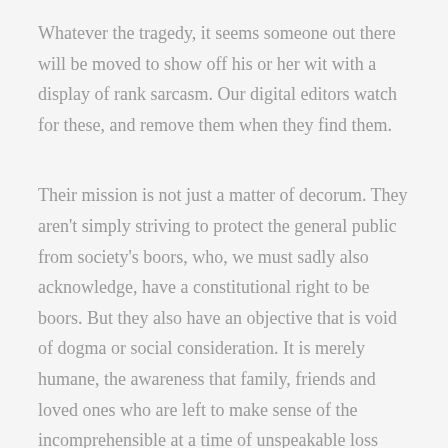Whatever the tragedy, it seems someone out there will be moved to show off his or her wit with a display of rank sarcasm. Our digital editors watch for these, and remove them when they find them.
Their mission is not just a matter of decorum. They aren't simply striving to protect the general public from society's boors, who, we must sadly also acknowledge, have a constitutional right to be boors. But they also have an objective that is void of dogma or social consideration. It is merely humane, the awareness that family, friends and loved ones who are left to make sense of the incomprehensible at a time of unspeakable loss may see or learn of someone callously making light of their suffering or using it to advance some personal agenda.